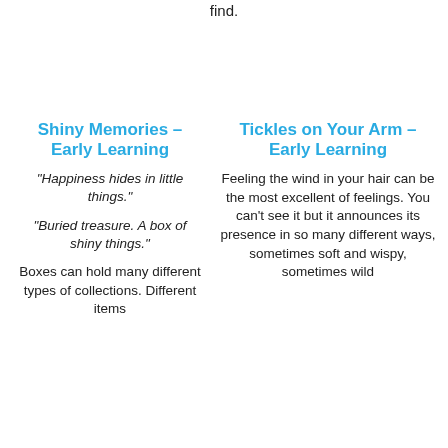find.
Shiny Memories – Early Learning
Tickles on Your Arm – Early Learning
"Happiness hides in little things."
"Buried treasure. A box of shiny things."
Boxes can hold many different types of collections. Different items
Feeling the wind in your hair can be the most excellent of feelings. You can't see it but it announces its presence in so many different ways, sometimes soft and wispy, sometimes wild